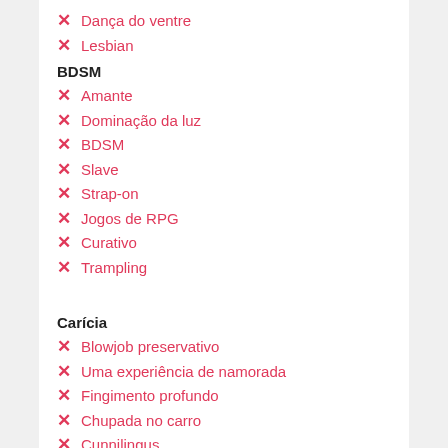Dança do ventre
Lesbian
BDSM
Amante
Dominação da luz
BDSM
Slave
Strap-on
Jogos de RPG
Curativo
Trampling
Carícia
Blowjob preservativo
Uma experiência de namorada
Fingimento profundo
Chupada no carro
Cunnilingus